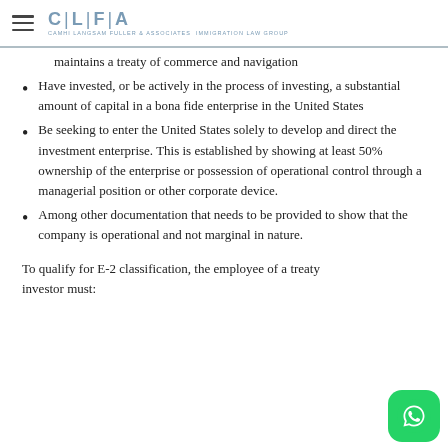CLFA - CAMHI LANGSAM FULLER & ASSOCIATES IMMIGRATION LAW GROUP
Be a national of a country with which the United States maintains a treaty of commerce and navigation
Have invested, or be actively in the process of investing, a substantial amount of capital in a bona fide enterprise in the United States
Be seeking to enter the United States solely to develop and direct the investment enterprise. This is established by showing at least 50% ownership of the enterprise or possession of operational control through a managerial position or other corporate device.
Among other documentation that needs to be provided to show that the company is operational and not marginal in nature.
To qualify for E-2 classification, the employee of a treaty investor must: